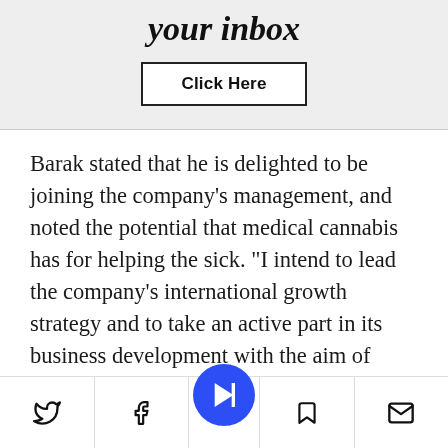your inbox
Click Here
Barak stated that he is delighted to be joining the company's management, and noted the potential that medical cannabis has for helping the sick. "I intend to lead the company's international growth strategy and to take an active part in its business development with the aim of turning Canndoc Pharma into a global leader in its field," he stated.
Social share bar with Twitter, Facebook, Newsbreak, Bookmark, and Mail icons